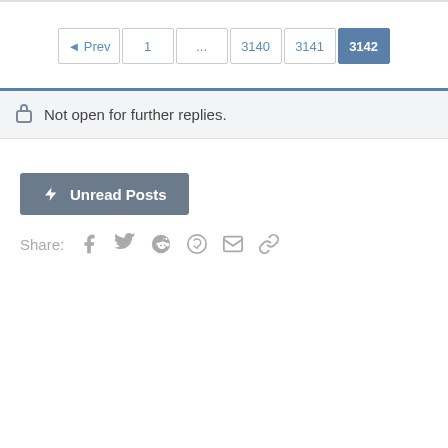[Figure (other): Pagination navigation bar with buttons: Prev, 1, ..., 3140, 3141, 3142 (active/highlighted)]
Not open for further replies.
Unread Posts
Share: